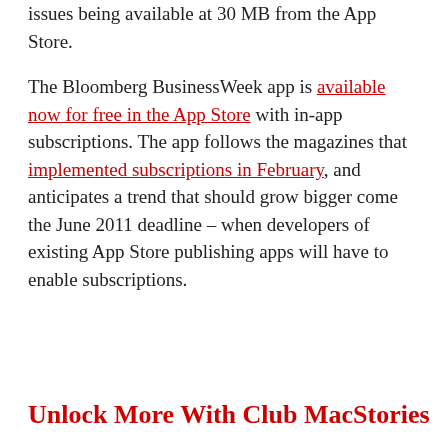issues being available at 30 MB from the App Store.
The Bloomberg BusinessWeek app is available now for free in the App Store with in-app subscriptions. The app follows the magazines that implemented subscriptions in February, and anticipates a trend that should grow bigger come the June 2011 deadline – when developers of existing App Store publishing apps will have to enable subscriptions.
Unlock More With Club MacStories